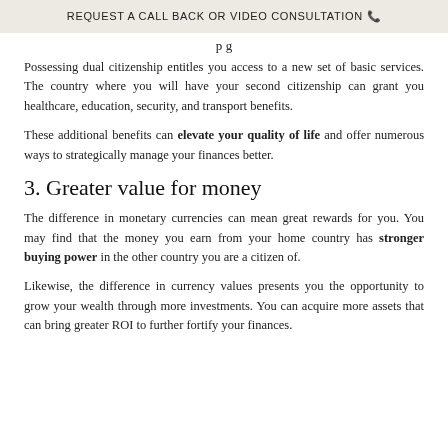REQUEST A CALL BACK OR VIDEO CONSULTATION 📞
p g
Possessing dual citizenship entitles you access to a new set of basic services. The country where you will have your second citizenship can grant you healthcare, education, security, and transport benefits.
These additional benefits can elevate your quality of life and offer numerous ways to strategically manage your finances better.
3. Greater value for money
The difference in monetary currencies can mean great rewards for you. You may find that the money you earn from your home country has stronger buying power in the other country you are a citizen of.
Likewise, the difference in currency values presents you the opportunity to grow your wealth through more investments. You can acquire more assets that can bring greater ROI to further fortify your finances.